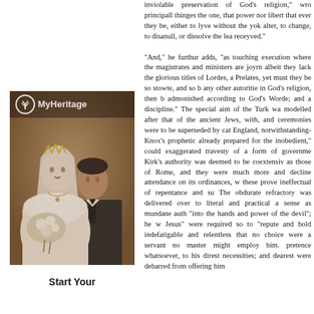inviolable preservation of God's religion," wro principall thinges the one, that power nor libert that ever they be, either to lyve without the yok alter, to change, to disanull, or dissolve the lea receyved."

"And," he furthur adds, "as touching execution where the magistrates and ministers are joyrnm albeit they lack the glorious titles of Lordes, a Prelates, yet must they be so stowte, and so bo any other autoritie in God's religion, then b admonished according to God's Worde; and a discipline." The special aim of the Turk was modelled after that of the ancient Jews, with, and ceremonies were to be superseded by cate England, notwithstanding- Knox's prophetic v already prepared for the inobedient," could exaggerated travesty of a form of governmen Kirk's authority was deemed to be coextensive as those of Rome, and they were much more and decline attendance on its ordinances, wa these prove ineffectual of repentance and sub The obdurate refractory was delivered over to S literal and practical a sense as mundane autho "into the hands and power of the devil"; he wa Jesus" were required so to "repute and hold indefatigable and relentless that no choice w were a servant no master might employ him. pretence whatsoever, to his direst necessities; and dearest were debarred from offering him
[Figure (photo): Sepia-toned vintage wedding photograph of a bride and groom. The bride wears a tiara and veil with a bouquet of flowers; the groom wears a dark suit. MyHeritage logo with tree icon appears in the upper-left corner of the photo.]
Start Your